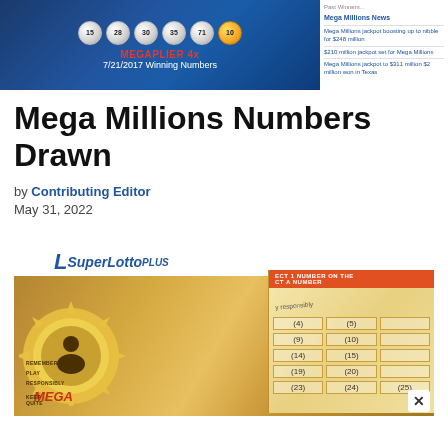[Figure (screenshot): Mega Millions 7/21/2017 winning numbers with lottery balls showing MEGAPLIER 4x, and a sidebar with Mega Millions news items on white background]
Mega Millions Numbers Drawn
by Contributing Editor
May 31, 2022
[Figure (photo): Photo of California Mega Millions lottery ticket and SuperLotto Plus ticket/playslip]